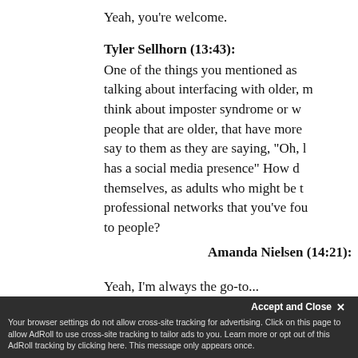Yeah, you're welcome.
Tyler Sellhorn (13:43): One of the things you mentioned as talking about interfacing with older, more experienced people, think about imposter syndrome or when you're talking to people that are older, that have more experience, what do you say to them as they are saying, "Oh, but this person just has a social media presence" How do you view themselves, as adults who might be resistant to changing professional networks that you've found to be most helpful to people?
Amanda Nielsen (14:21): Yeah, I'm always the go-to...
Your browser settings do not allow cross-site tracking for advertising. Click on this page to allow AdRoll to use cross-site tracking to tailor ads to you. Learn more or opt out of this AdRoll tracking by clicking here. This message only appears once.